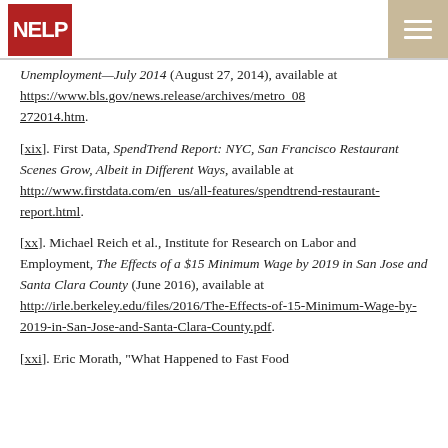NELP
Unemployment—July 2014 (August 27, 2014), available at https://www.bls.gov/news.release/archives/metro_082 72014.htm.
[xix]. First Data, SpendTrend Report: NYC, San Francisco Restaurant Scenes Grow, Albeit in Different Ways, available at http://www.firstdata.com/en_us/all-features/spendtrend-restaurant-report.html.
[xx]. Michael Reich et al., Institute for Research on Labor and Employment, The Effects of a $15 Minimum Wage by 2019 in San Jose and Santa Clara County (June 2016), available at http://irle.berkeley.edu/files/2016/The-Effects-of-15-Minimum-Wage-by-2019-in-San-Jose-and-Santa-Clara-County.pdf.
[xxi]. Eric Morath, "What Happened to Fast Food Workers When Seattle Raised Its Minimum Wage"